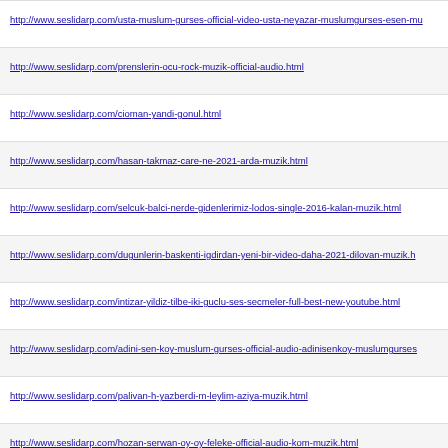http://www.seslidarp.com/usta-muslum-gurses-official-video-usta-neyazar-muslumgurses-esen-mu
http://www.seslidarp.com/prenslerin-ocu-rock-muzik-official-audio.html
http://www.seslidarp.com/cioman-yandi-gonul.html
http://www.seslidarp.com/hasan-takmaz-care-ne-2021-arda-muzik.html
http://www.seslidarp.com/selcuk-balci-nerde-gidenlerimiz-lodos-single-2016-kalan-muzik.html
http://www.seslidarp.com/dugunlerin-baskenti-igdirdan-yeni-bir-video-daha-2021-dilovan-muzik.h
http://www.seslidarp.com/intizar-yildiz-tilbe-iki-guclu-ses-secmeler-full-best-new-youtube.html
http://www.seslidarp.com/adini-sen-koy-muslum-gurses-official-audio-adinisenkoy-muslumgurses
http://www.seslidarp.com/palivan-h-yazberdi-m-leylim-aziya-muzik.html
http://www.seslidarp.com/hozan-serwan-oy-oy-feleke-official-audio-kom-muzik.html
http://www.seslidarp.com/ceylan-koynat-neden-peki-o-zaman.html
http://www.seslidarp.com/gel-sevdugum-elif-buse-dogan-official-music-video-gelsevdugum-elifbu